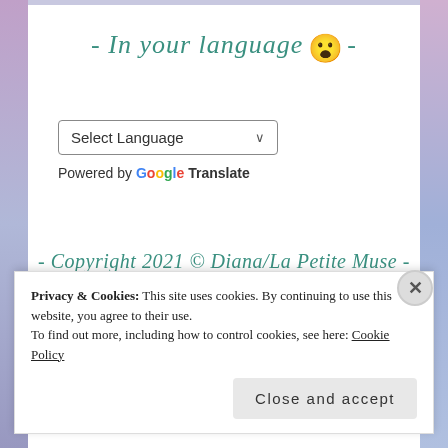- In your language 😮 -
Select Language (dropdown)
Powered by Google Translate
- Copyright 2021 © Diana/La Petite Muse -
Privacy & Cookies: This site uses cookies. By continuing to use this website, you agree to their use.
To find out more, including how to control cookies, see here: Cookie Policy
Close and accept